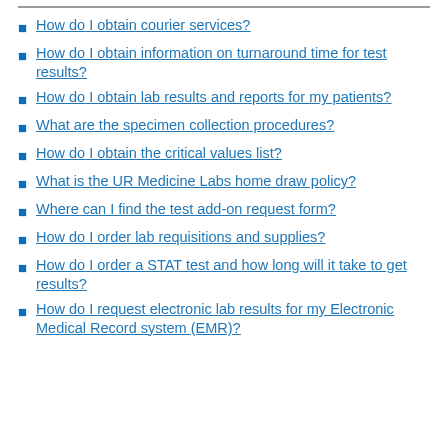How do I obtain courier services?
How do I obtain information on turnaround time for test results?
How do I obtain lab results and reports for my patients?
What are the specimen collection procedures?
How do I obtain the critical values list?
What is the UR Medicine Labs home draw policy?
Where can I find the test add-on request form?
How do I order lab requisitions and supplies?
How do I order a STAT test and how long will it take to get results?
How do I request electronic lab results for my Electronic Medical Record system (EMR)?